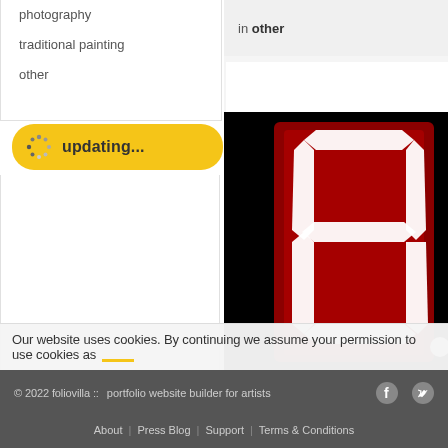photography
traditional painting
other
updating...
in other
[Figure (photo): Red seven-segment display showing digit 8 and partial dot on black background]
Our website uses cookies. By continuing we assume your permission to use cookies as
© 2022 foliovilla :: portfolio website builder for artists   About | Press Blog | Support | Terms & Conditions